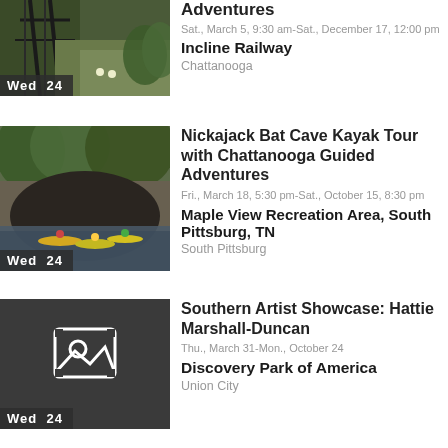[Figure (photo): Partial view of a railway/bridge photo with a date badge 'Wed 24' at the bottom left]
Adventures
Sat., March 5, 9:30 am-Sat., December 17, 12:00 pm
Incline Railway
Chattanooga
[Figure (photo): Kayakers on a calm river near a cave entrance, lush green trees in background, date badge 'Wed 24']
Nickajack Bat Cave Kayak Tour with Chattanooga Guided Adventures
Fri., March 18, 5:30 pm-Sat., October 15, 8:30 pm
Maple View Recreation Area, South Pittsburg, TN
South Pittsburg
[Figure (illustration): Dark grey placeholder image with a white image icon, date badge 'Wed 24']
Southern Artist Showcase: Hattie Marshall-Duncan
Thu., March 31-Mon., October 24
Discovery Park of America
Union City